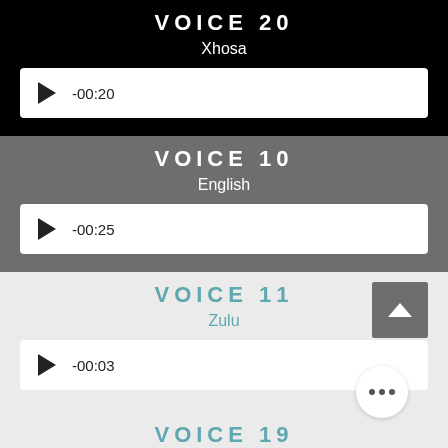VOICE 20
Xhosa
-00:20
VOICE 10
English
-00:25
VOICE 11
Zulu
-00:03
VOICE 19
English